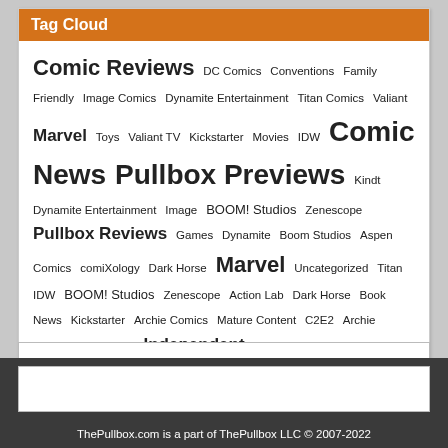Tag Cloud
Comic Reviews DC Comics Conventions Family Friendly Image Comics Dynamite Entertainment Titan Comics Valiant Marvel Toys Valiant TV Kickstarter Movies IDW Comic News Pullbox Previews Kindt Dynamite Entertainment Image BOOM! Studios Zenescope Pullbox Reviews Games Dynamite Boom Studios Aspen Comics comiXology Dark Horse Marvel Uncategorized Titan IDW BOOM! Studios Zenescope Action Lab Dark Horse Book News Kickstarter Archie Comics Mature Content C2E2 Archie Comics Action Lab Independent
ThePullbox.com is a part of ThePullbox LLC © 2007-2022